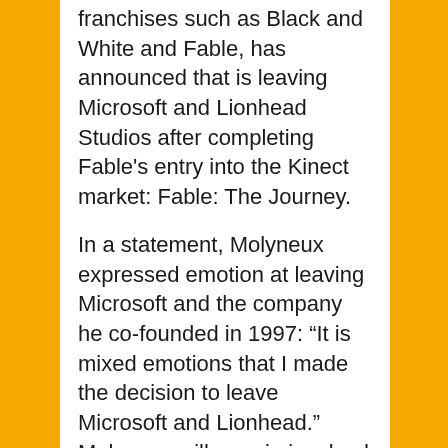franchises such as Black and White and Fable, has announced that is leaving Microsoft and Lionhead Studios after completing Fable's entry into the Kinect market: Fable: The Journey.
In a statement, Molyneux expressed emotion at leaving Microsoft and the company he co-founded in 1997: “It is mixed emotions that I made the decision to leave Microsoft and Lionhead.” Molyneux will remain involved with this year’s Fable: The Journey as a creative consultant.
Taking over from Molyneux is studio co-founder Mark Webley. Molynexus will be moving to a new studio called 22 Cans